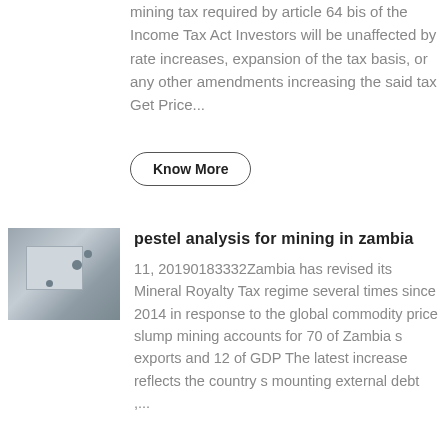mining tax required by article 64 bis of the Income Tax Act Investors will be unaffected by rate increases, expansion of the tax basis, or any other amendments increasing the said tax Get Price...
Know More
[Figure (photo): Thumbnail photo showing what appears to be industrial or mining equipment, grayish toned image]
pestel analysis for mining in zambia
11, 20190183332Zambia has revised its Mineral Royalty Tax regime several times since 2014 in response to the global commodity price slump mining accounts for 70 of Zambia s exports and 12 of GDP The latest increase reflects the country s mounting external debt ,...